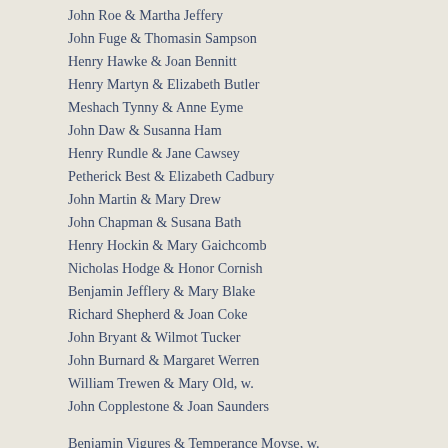John Roe & Martha Jeffery
John Fuge & Thomasin Sampson
Henry Hawke & Joan Bennitt
Henry Martyn & Elizabeth Butler
Meshach Tynny & Anne Eyme
John Daw & Susanna Ham
Henry Rundle & Jane Cawsey
Petherick Best & Elizabeth Cadbury
John Martin & Mary Drew
John Chapman & Susana Bath
Henry Hockin & Mary Gaichcomb
Nicholas Hodge & Honor Cornish
Benjamin Jefflery & Mary Blake
Richard Shepherd & Joan Coke
John Bryant & Wilmot Tucker
John Burnard & Margaret Werren
William Trewen & Mary Old, w.
John Copplestone & Joan Saunders
Benjamin Vigures & Temperance Moyse, w.
William Pawly & Charity Hodge